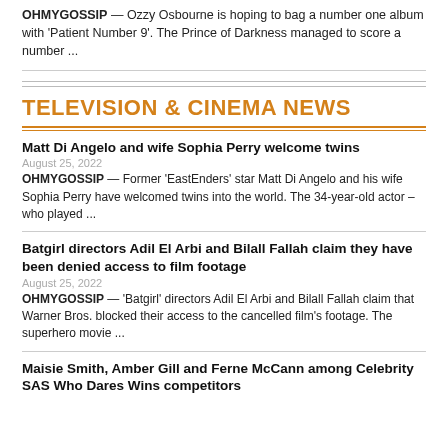OHMYGOSSIP — Ozzy Osbourne is hoping to bag a number one album with 'Patient Number 9'. The Prince of Darkness managed to score a number ...
TELEVISION & CINEMA NEWS
Matt Di Angelo and wife Sophia Perry welcome twins
August 25, 2022
OHMYGOSSIP — Former 'EastEnders' star Matt Di Angelo and his wife Sophia Perry have welcomed twins into the world. The 34-year-old actor – who played ...
Batgirl directors Adil El Arbi and Bilall Fallah claim they have been denied access to film footage
August 25, 2022
OHMYGOSSIP — 'Batgirl' directors Adil El Arbi and Bilall Fallah claim that Warner Bros. blocked their access to the cancelled film's footage. The superhero movie ...
Maisie Smith, Amber Gill and Ferne McCann among Celebrity SAS Who Dares Wins competitors